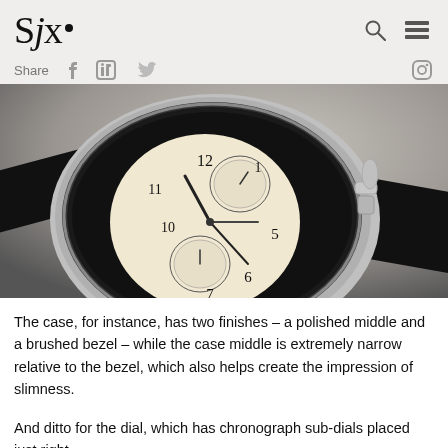SJx.
[Figure (photo): Close-up photograph of a vintage chronograph watch with two-tone dial (black outer ring and cream/white subdials), black leather strap, steel polished case with pusher visible, shot at an angle on a light surface.]
The case, for instance, has two finishes – a polished middle and a brushed bezel – while the case middle is extremely narrow relative to the bezel, which also helps create the impression of slimness.
And ditto for the dial, which has chronograph sub-dials placed just right